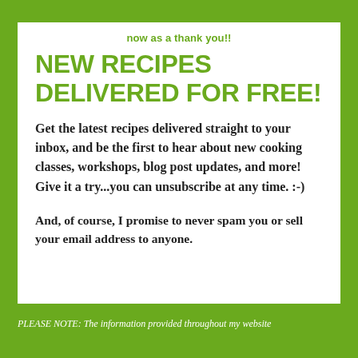now as a thank you!!
NEW RECIPES DELIVERED FOR FREE!
Get the latest recipes delivered straight to your inbox, and be the first to hear about new cooking classes, workshops, blog post updates, and more! Give it a try...you can unsubscribe at any time. :-)
And, of course, I promise to never spam you or sell your email address to anyone.
PLEASE NOTE: The information provided throughout my website